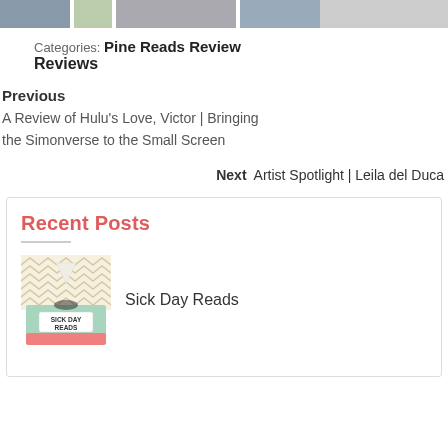[Figure (photo): Top image strip showing partial book or media cover images cropped at the top of the page]
Categories: Pine Reads Review
Reviews
Previous
A Review of Hulu's Love, Victor | Bringing the Simonverse to the Small Screen
Next   Artist Spotlight | Leila del Duca
Recent Posts
[Figure (illustration): Illustration of a tissue box labeled SICK DAY READS with chevron pattern background and pink base]
Sick Day Reads